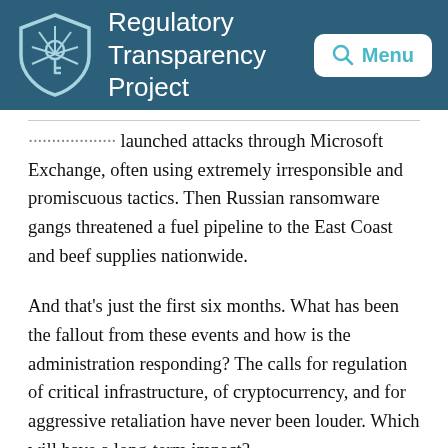Regulatory Transparency Project
launched attacks through Microsoft Exchange, often using extremely irresponsible and promiscuous tactics. Then Russian ransomware gangs threatened a fuel pipeline to the East Coast and beef supplies nationwide.
And that’s just the first six months. What has been the fallout from these events and how is the administration responding? The calls for regulation of critical infrastructure, of cryptocurrency, and for aggressive retaliation have never been louder. Which will have a long-term impact?